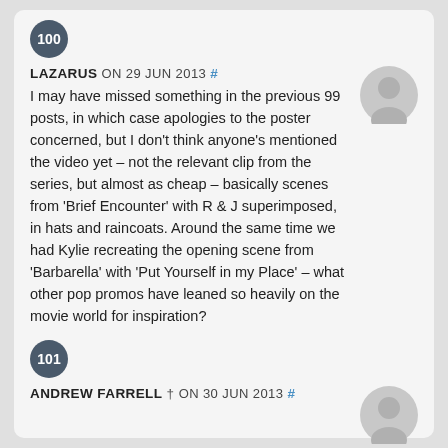100
LAZARUS ON 29 JUN 2013 #
I may have missed something in the previous 99 posts, in which case apologies to the poster concerned, but I don't think anyone's mentioned the video yet – not the relevant clip from the series, but almost as cheap – basically scenes from 'Brief Encounter' with R & J superimposed, in hats and raincoats. Around the same time we had Kylie recreating the opening scene from 'Barbarella' with 'Put Yourself in my Place' – what other pop promos have leaned so heavily on the movie world for inspiration?
101
ANDREW FARRELL † ON 30 JUN 2013 #